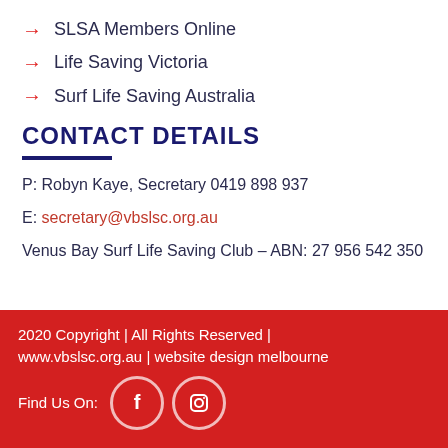SLSA Members Online
Life Saving Victoria
Surf Life Saving Australia
CONTACT DETAILS
P: Robyn Kaye, Secretary 0419 898 937
E: secretary@vbslsc.org.au
Venus Bay Surf Life Saving Club – ABN: 27 956 542 350
2020 Copyright | All Rights Reserved | www.vbslsc.org.au | website design melbourne